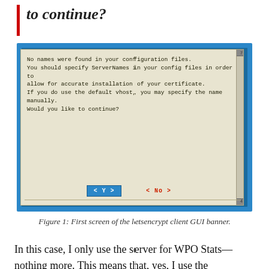to continue?
[Figure (screenshot): Terminal/ncurses dialog showing: 'No names were found in your configuration files. You should specify ServerNames in your config files in order to allow for accurate installation of your certificate. If you do use the default vhost, you may specify the name manually. Would you like to continue?' with < Y > and < No > buttons.]
Figure 1: First screen of the letsencrypt client GUI banner.
In this case, I only use the server for WPO Stats—nothing more. This means that, yes, I use the